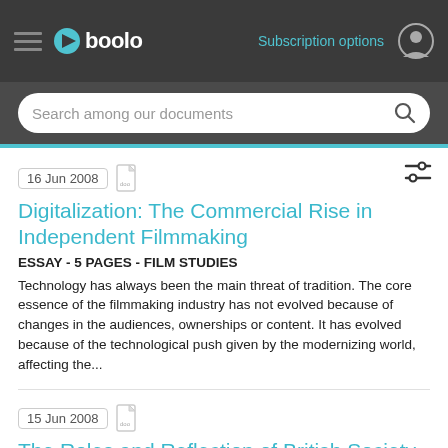Gboolo — Subscription options
Search among our documents
16 Jun 2008 | doc
Digitalization: The Commercial Rise in Independent Filmmaking
ESSAY - 5 PAGES - FILM STUDIES
Technology has always been the main threat of tradition. The core essence of the filmmaking industry has not evolved because of changes in the audiences, ownerships or content. It has evolved because of the technological push given by the modernizing world, affecting the...
15 Jun 2008 | doc
The Roles and Reflection of British Society in British Comedies
ESSAY - 5 PAGES - FILM STUDIES
The mechanism of early photographic cameras was as follows: the location and objects in front of the camera were copied onto the film in